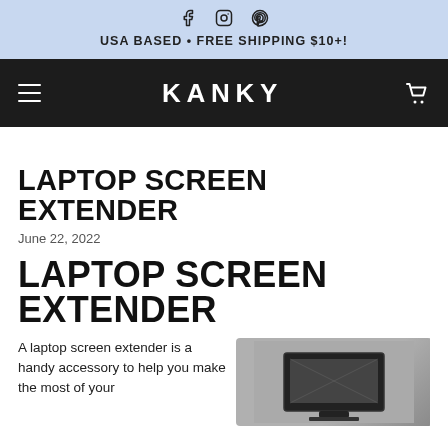USA BASED • FREE SHIPPING $10+!
KANKY
LAPTOP SCREEN EXTENDER
June 22, 2022
LAPTOP SCREEN EXTENDER
A laptop screen extender is a handy accessory to help you make the most of your
[Figure (photo): Product image of a laptop screen extender, black frame, on a gray background]